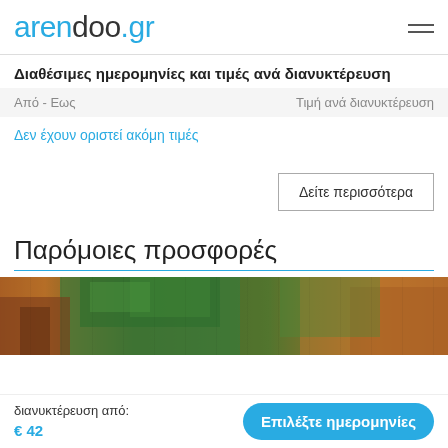arendoo.gr
Διαθέσιμες ημερομηνίες και τιμές ανά διανυκτέρευση
| Από - Εως | Τιμή ανά διανυκτέρευση |
| --- | --- |
Δεν έχουν οριστεί ακόμη τιμές
Δείτε περισσότερα
Παρόμοιες προσφορές
[Figure (photo): Exterior view of a property with green plants and wooden elements]
διανυκτέρευση από:
€ 42
Επιλέξτε ημερομηνίες